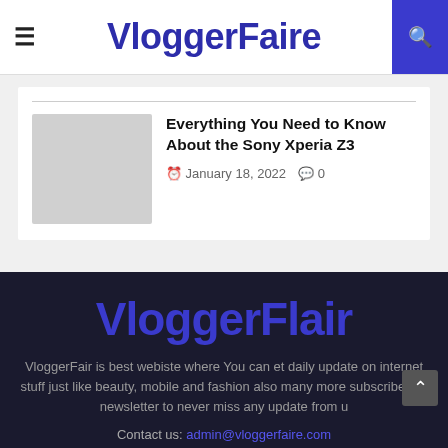VloggerFaire
Everything You Need to Know About the Sony Xperia Z3
January 18, 2022   0
VloggerFlair
VloggerFair is best webiste where You can et daily update on internet stuff just like beauty, mobile and fashion also many more subscribe our newsletter to never miss any update from u
Contact us: admin@vloggerfaire.com